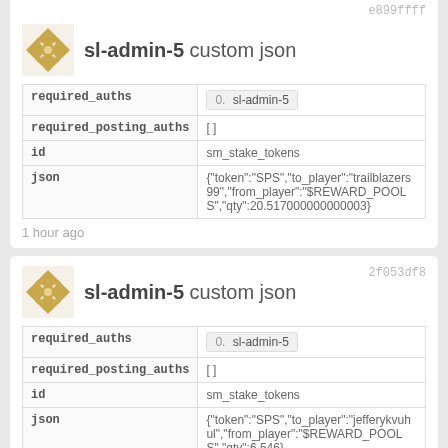| field | value |
| --- | --- |
| required_auths | 0. sl-admin-5 |
| required_posting_auths | [] |
| id | sm_stake_tokens |
| json | {"token":"SPS","to_player":"trailblazers99","from_player":"$REWARD_POOLS","qty":20.517000000000003} |
1 hour ago
| field | value |
| --- | --- |
| required_auths | 0. sl-admin-5 |
| required_posting_auths | [] |
| id | sm_stake_tokens |
| json | {"token":"SPS","to_player":"jefferykvuhul","from_player":"$REWARD_POOLS","qty":6.546} |
1 hour ago
sl-admin-5 custom json (partial)